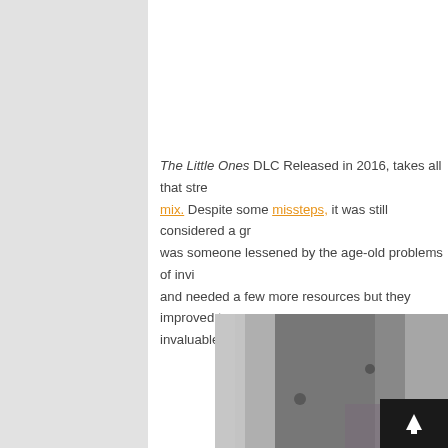The Little Ones DLC Released in 2016, takes all that stre... mix. Despite some missteps, it was still considered a gr... was someone lessened by the age-old problems of invi... and needed a few more resources but they improved th... invaluable.
[Figure (photo): A close-up photograph of a grey textured surface, partially cropped, with a black navigation button showing an upward arrow in the lower right]